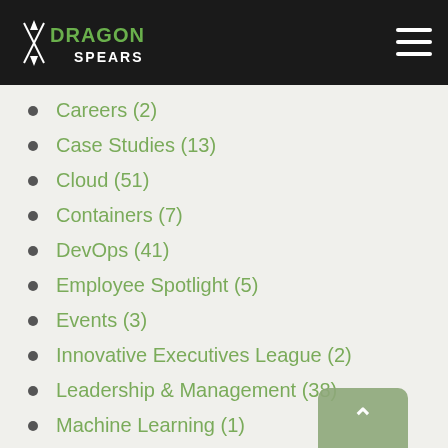Dragon Spears
Careers (2)
Case Studies (13)
Cloud (51)
Containers (7)
DevOps (41)
Employee Spotlight (5)
Events (3)
Innovative Executives League (2)
Leadership & Management (38)
Machine Learning (1)
Modernization (2)